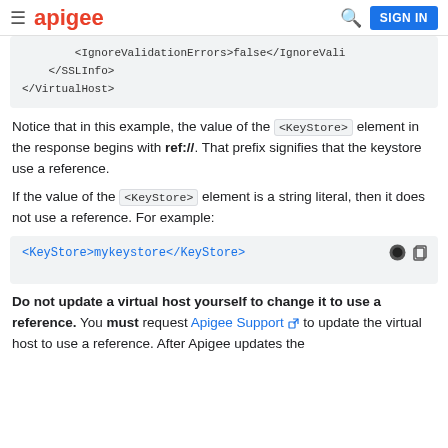≡ apigee  🔍 SIGN IN
<IgnoreValidationErrors>false</IgnoreVali
</SSLInfo>
</VirtualHost>
Notice that in this example, the value of the <KeyStore> element in the response begins with ref://. That prefix signifies that the keystore use a reference.
If the value of the <KeyStore> element is a string literal, then it does not use a reference. For example:
<KeyStore>mykeystore</KeyStore>
Do not update a virtual host yourself to change it to use a reference. You must request Apigee Support to update the virtual host to use a reference. After Apigee updates the